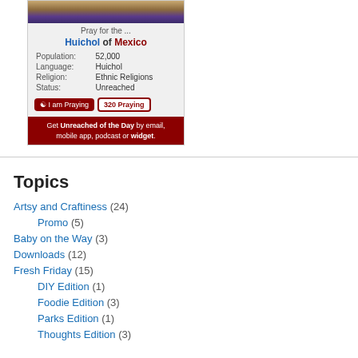[Figure (screenshot): Widget showing 'Pray for the Huichol of Mexico' with population 52,000, language Huichol, religion Ethnic Religions, status Unreached, and a dark red footer with email/app/podcast/widget signup options.]
Topics
Artsy and Craftiness (24)
Promo (5)
Baby on the Way (3)
Downloads (12)
Fresh Friday (15)
DIY Edition (1)
Foodie Edition (3)
Parks Edition (1)
Thoughts Edition (3)